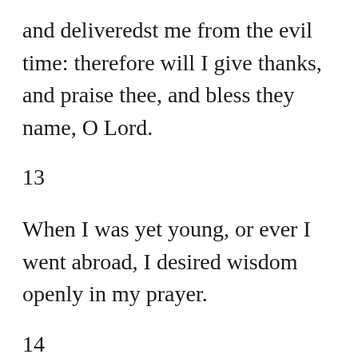and deliveredst me from the evil time: therefore will I give thanks, and praise thee, and bless they name, O Lord.
13
When I was yet young, or ever I went abroad, I desired wisdom openly in my prayer.
14